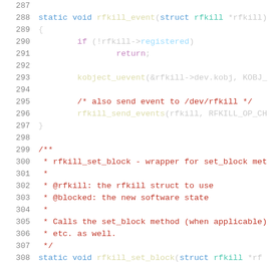[Figure (screenshot): Source code listing showing C code for rfkill_event function and rfkill_set_block documentation comment, with line numbers 287-307+, on white background. Code uses syntax highlighting with blue keywords, dark red comments, yellow-green macros, and default text colors.]